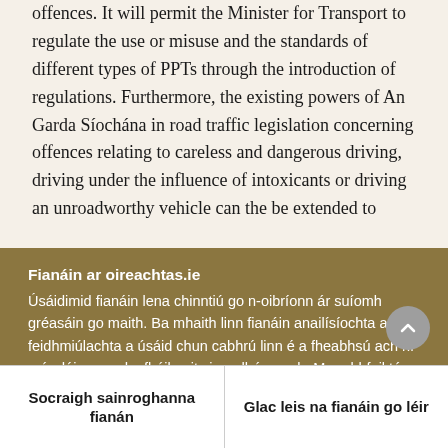offences. It will permit the Minister for Transport to regulate the use or misuse and the standards of different types of PPTs through the introduction of regulations. Furthermore, the existing powers of An Garda Síochána in road traffic legislation concerning offences relating to careless and dangerous driving, driving under the influence of intoxicants or driving an unroadworthy vehicle can the be extended to
Fianáin ar oireachtas.ie
Úsáidimid fianáin lena chinntiú go n-oibríonn ár suíomh gréasáin go maith. Ba mhaith linn fianáin anailísíochta agus feidhmiúlachta a úsáid chun cabhrú linn é a fheabhsú ach ní mór dúinn cead a fháil uait sin a dhéanamh. Mura bhfuil tú sásta cead a thabhairt, ní úsáidfear ach fianáin riachtanacha. Léigh tuileadh faoinár bhfianáin
Socraigh sainroghanna fianán
Glac leis na fianáin go léir